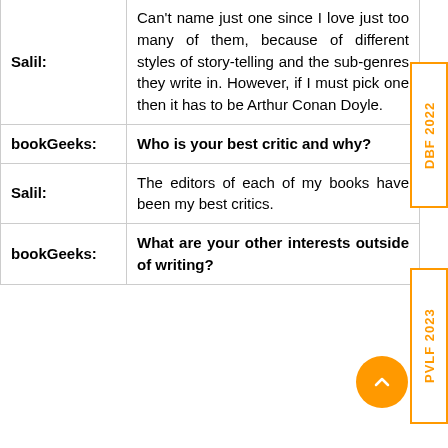| Speaker | Content |
| --- | --- |
| Salil: | Can’t name just one since I love just too many of them, because of different styles of story-telling and the sub-genres they write in. However, if I must pick one then it has to be Arthur Conan Doyle. |
| bookGeeks: | Who is your best critic and why? |
| Salil: | The editors of each of my books have been my best critics. |
| bookGeeks: | What are your other interests outside of writing? |